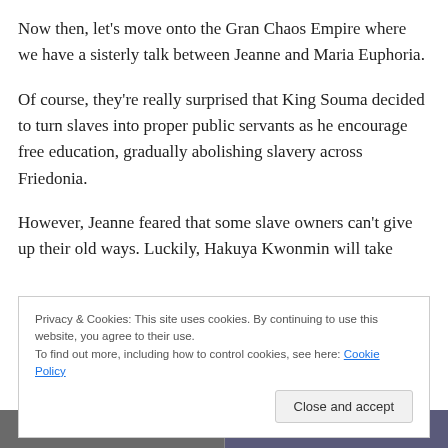Now then, let’s move onto the Gran Chaos Empire where we have a sisterly talk between Jeanne and Maria Euphoria.
Of course, they’re really surprised that King Souma decided to turn slaves into proper public servants as he encourage free education, gradually abolishing slavery across Friedonia.
However, Jeanne feared that some slave owners can’t give up their old ways. Luckily, Hakuya Kwonmin will take
Privacy & Cookies: This site uses cookies. By continuing to use this website, you agree to their use.
To find out more, including how to control cookies, see here: Cookie Policy
Close and accept
[Figure (photo): Bottom strip showing partial photo of people, partially cut off at bottom of page]